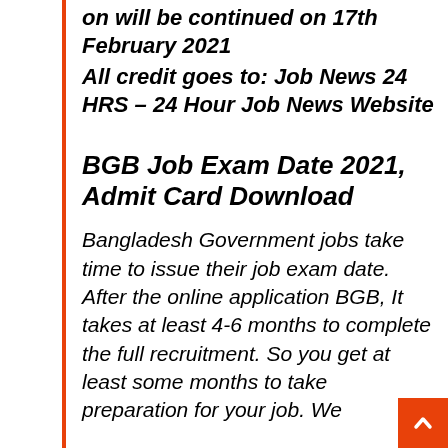on will be continued on 17th February 2021
All credit goes to: Job News 24 HRS – 24 Hour Job News Website
BGB Job Exam Date 2021, Admit Card Download
Bangladesh Government jobs take time to issue their job exam date. After the online application BGB, It takes at least 4-6 months to complete the full recruitment. So you get at least some months to take preparation for your job. We